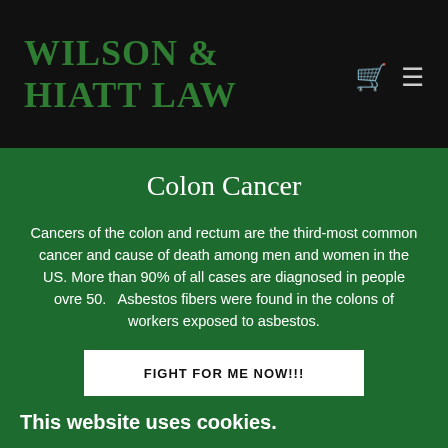WILSON & HIATT LAW
Colon Cancer
Cancers of the colon and rectum are the third-most common cancer and cause of death among men and women in the US. More than 90% of all cases are diagnosed in people ovre 50.   Asbestos fibers were found in the colons of workers exposed to asbestos.
FIGHT FOR ME NOW!!!
This website uses cookies.